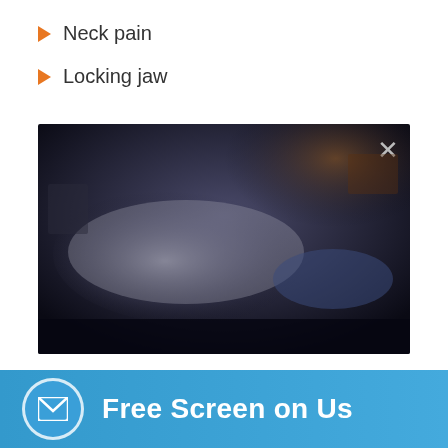Neck pain
Locking jaw
[Figure (photo): Dark video still showing a person lying on a treatment table, receiving what appears to be a chiropractic or physical therapy treatment. A close button (X) appears in the upper right corner of the video frame.]
Free Screen on Us